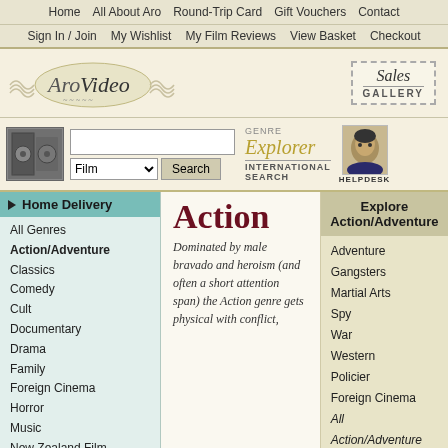Home | All About Aro | Round-Trip Card | Gift Vouchers | Contact
Sign In / Join | My Wishlist | My Film Reviews | View Basket | Checkout
[Figure (logo): AroVideo cursive logo with decorative wave lines]
[Figure (logo): Sales Gallery badge with dashed border]
[Figure (screenshot): Search area with film reel image, text input, Film dropdown, Search button, Genre Explorer, International Search, Helpdesk]
Home Delivery
All Genres
Action/Adventure
Classics
Comedy
Cult
Documentary
Drama
Family
Foreign Cinema
Horror
Music
New Zealand Film
Science Fiction
Suspense/Crime
Television
Staff Selections
Action
Dominated by male bravado and heroism (and often a short attention span) the Action genre gets physical with conflict,
Explore Action/Adventure
Adventure
Gangsters
Martial Arts
Spy
War
Western
Policier
Foreign Cinema
All Action/Adventure
Aro Favourite
Recommended